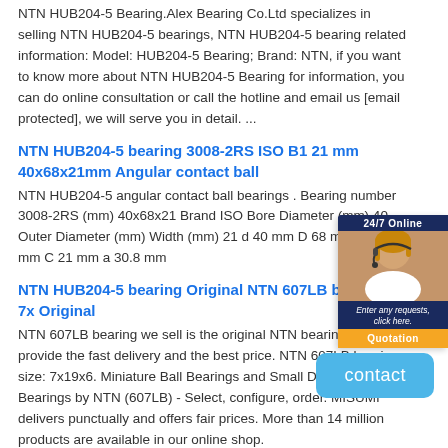NTN HUB204-5 Bearing.Alex Bearing Co.Ltd specializes in selling NTN HUB204-5 bearings, NTN HUB204-5 bearing related information: Model: HUB204-5 Bearing; Brand: NTN, if you want to know more about NTN HUB204-5 Bearing for information, you can do online consultation or call the hotline and email us [email protected], we will serve you in detail. ...
NTN HUB204-5 bearing 3008-2RS ISO B1 21 mm 40x68x21mm Angular contact ball
NTN HUB204-5 angular contact ball bearings . Bearing number 3008-2RS (mm) 40x68x21 Brand ISO Bore Diameter (mm) 40 Outer Diameter (mm) Width (mm) 21 d 40 mm D 68 mm B1 21 mm C 21 mm a 30.8 mm
NTN HUB204-5 bearing Original NTN 607LB bearing - 7x Original
NTN 607LB bearing we sell is the original NTN bearing. We will provide the fast delivery and the best price. NTN 607LB bearing size: 7x19x6. Miniature Ball Bearings and Small Diameter Ball Bearings by NTN (607LB) - Select, configure, order. MISUMI delivers punctually and offers fair prices. More than 14 million products are available in our online shop.
Get Detailed Price